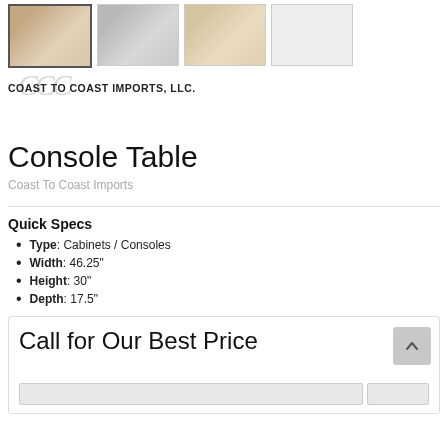[Figure (photo): Row of four product thumbnail images for a console table; first thumbnail is selected/highlighted]
[Figure (logo): Coast To Coast Imports, LLC logo with stylized CCC monogram]
Console Table
Coast To Coast Imports
Quick Specs
Type: Cabinets / Consoles
Width: 46.25"
Height: 30"
Depth: 17.5"
Call for Our Best Price